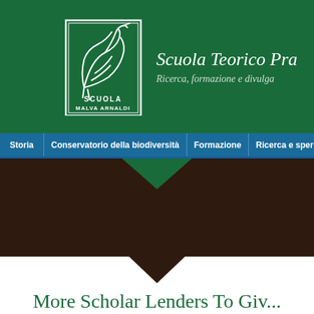[Figure (logo): Scuola Malva Arnaldi logo with stylized heron/bird inside a rectangular border, white on dark green background]
Scuola Teorico Pra...
Ricerca, formazione e divulga...
Storia | Conservatorio della biodiversità | Formazione | Ricerca e speriment...
More Scholar Lenders To Giv... Gotten No Co-Signer
Utilizziamo i cookie per darti la migliore esperienza di navigazione sul nostro sito. Accetta  Leggi tutto